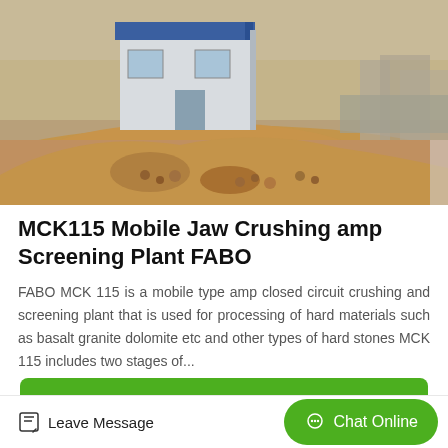[Figure (photo): Construction site photo showing a small prefabricated building/office with blue roof, a mound of soil and rocks, and concrete structures in the background on a dirt construction site.]
MCK115 Mobile Jaw Crushing amp Screening Plant FABO
FABO MCK 115 is a mobile type amp closed circuit crushing and screening plant that is used for processing of hard materials such as basalt granite dolomite etc and other types of hard stones MCK 115 includes two stages of...
Get Price
Leave Message
Chat Online